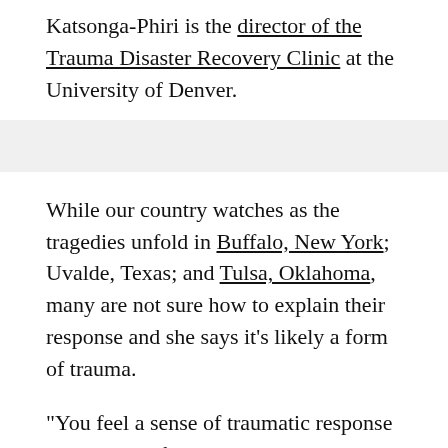Katsonga-Phiri is the director of the Trauma Disaster Recovery Clinic at the University of Denver.
While our country watches as the tragedies unfold in Buffalo, New York; Uvalde, Texas; and Tulsa, Oklahoma, many are not sure how to explain their response and she says it's likely a form of trauma.
"You feel a sense of traumatic response because you feel that threat," she said.
It's a feeling that may hit differently for different people.
Learning two teachers and 19 children were killed at